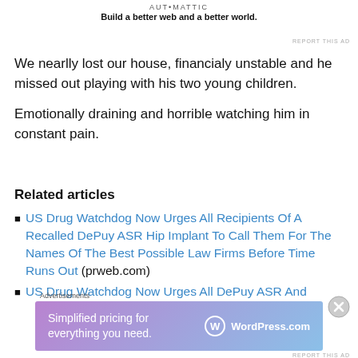[Figure (logo): Automattic logo with tagline 'Build a better web and a better world.']
We nearlly lost our house, financialy unstable and he missed out playing with his two young children.
Emotionally draining and horrible watching him in constant pain.
Related articles
US Drug Watchdog Now Urges All Recipients Of A Recalled DePuy ASR Hip Implant To Call Them For The Names Of The Best Possible Law Firms Before Time Runs Out (prweb.com)
US Drug Watchdog Now Urges All DePuy ASR And
[Figure (screenshot): Advertisement banner: WordPress.com - Simplified pricing for everything you need.]